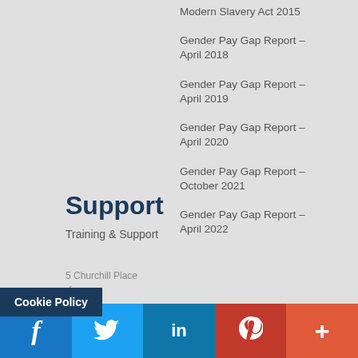Modern Slavery Act 2015
Gender Pay Gap Report – April 2018
Gender Pay Gap Report – April 2019
Gender Pay Gap Report – April 2020
Gender Pay Gap Report – October 2021
Gender Pay Gap Report – April 2022
Support
Training & Support
5 Churchill Place
rf
Cookie Policy
f  t  in  p  +